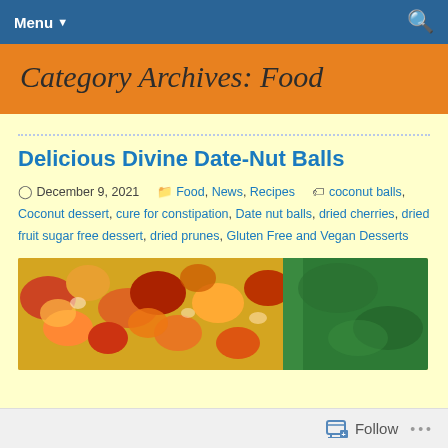Menu ▼
Category Archives: Food
Delicious Divine Date-Nut Balls
December 9, 2021   Food, News, Recipes   coconut balls, Coconut dessert, cure for constipation, Date nut balls, dried cherries, dried fruit sugar free dessert, dried prunes, Gluten Free and Vegan Desserts
[Figure (photo): Close-up photo of colorful date-nut balls with green coconut coating]
Follow ...